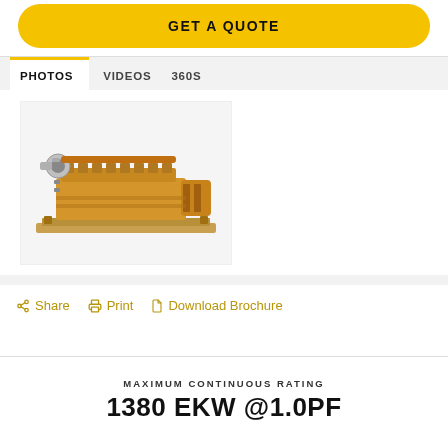GET A QUOTE
[Figure (screenshot): Navigation tabs showing PHOTOS (active), VIDEOS, 360S]
[Figure (photo): CAT industrial generator set, gold/yellow color, large multi-cylinder engine on a base frame]
Share   Print   Download Brochure
MAXIMUM CONTINUOUS RATING
1380 EKW @1.0PF